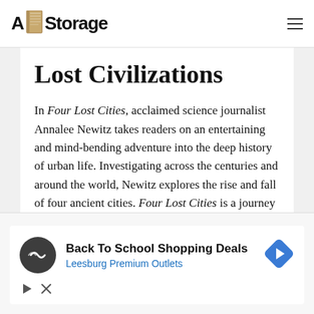A Storage
Lost Civilizations
In Four Lost Cities, acclaimed science journalist Annalee Newitz takes readers on an entertaining and mind-bending adventure into the deep history of urban life. Investigating across the centuries and around the world, Newitz explores the rise and fall of four ancient cities. Four Lost Cities is a journey into the forgotten past, but, foreseeing a future in which the majority of people on Earth will be living in
[Figure (screenshot): Advertisement banner for Back To School Shopping Deals at Leesburg Premium Outlets with circular logo, text, and navigation icon.]